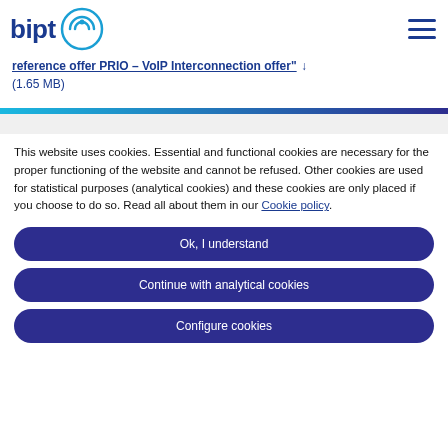bipt [logo]
reference offer PRIO – VoIP Interconnection offer" (1.65 MB)
This website uses cookies. Essential and functional cookies are necessary for the proper functioning of the website and cannot be refused. Other cookies are used for statistical purposes (analytical cookies) and these cookies are only placed if you choose to do so. Read all about them in our Cookie policy.
Ok, I understand
Continue with analytical cookies
Configure cookies